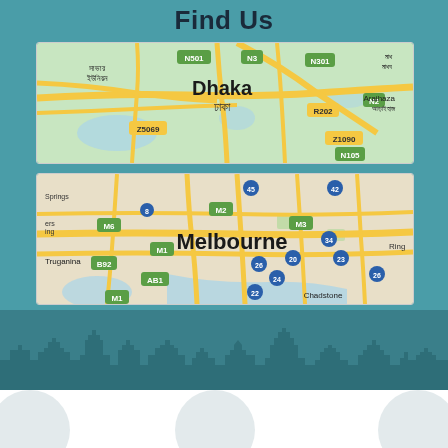Find Us
[Figure (map): Google Map showing Dhaka, Bangladesh area with road network, labeled N501, N3, N301, N2, R202, Z5069, Z1090, N105 routes, and area labels Dhaka / ঢাকা, সাভার ইউনিয়ন, Araihaza / আড়াইহাজ, মাধব]
[Figure (map): Google Map showing Melbourne, Australia area with road network, labeled M6, M2, M3, M1, AB1, B92, 45, 42, 8, 34, 26, 24, 23, 22, 20 routes, and area labels Melbourne, Truganina, Chadstone, Ring, Springs]